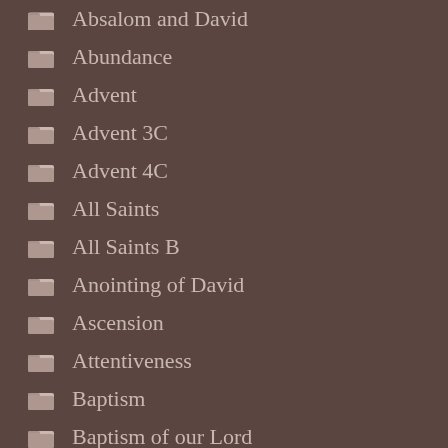Absalom and David
Abundance
Advent
Advent 3C
Advent 4C
All Saints
All Saints B
Anointing of David
Ascension
Attentiveness
Baptism
Baptism of our Lord
Bartimaeus
Beheading ofJohn the Baptist